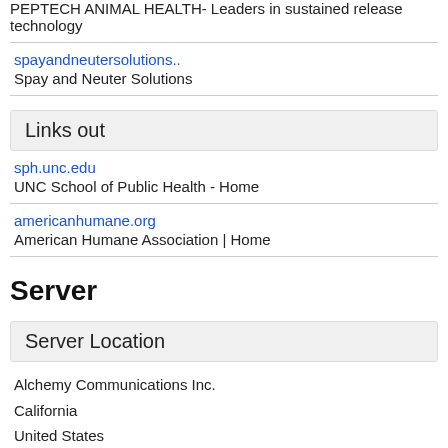PEPTECH ANIMAL HEALTH- Leaders in sustained release technology
spayandneutersolutions..
Spay and Neuter Solutions
Links out
sph.unc.edu
UNC School of Public Health - Home
americanhumane.org
American Humane Association | Home
Server
Server Location
Alchemy Communications Inc.
California
United States